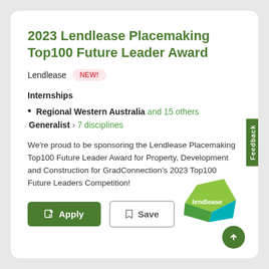2023 Lendlease Placemaking Top100 Future Leader Award
Lendlease  NEW!
Internships
Regional Western Australia and 15 others
Generalist › 7 disciplines
We're proud to be sponsoring the Lendlease Placemaking Top100 Future Leader Award for Property, Development and Construction for GradConnection's 2023 Top100 Future Leaders Competition!
[Figure (logo): Lendlease logo with green and teal geometric shape and 'lendlease' text]